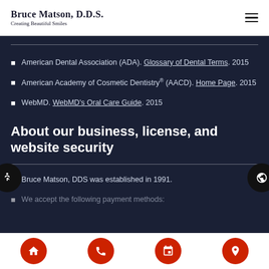Bruce Matson, D.D.S. Creating Beautiful Smiles
American Dental Association (ADA). Glossary of Dental Terms. 2015
American Academy of Cosmetic Dentistry® (AACD). Home Page. 2015
WebMD. WebMD's Oral Care Guide. 2015
About our business, license, and website security
Bruce Matson, DDS was established in 1991.
We accept the following payment methods:
Home | Phone | Calendar | Location